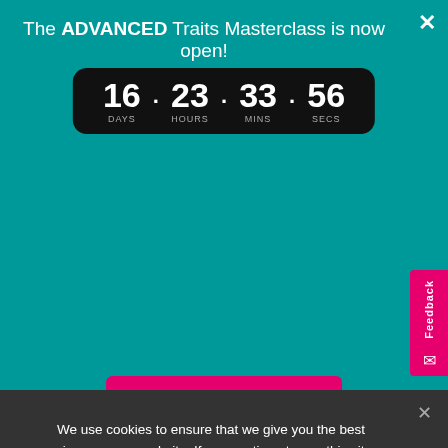The ADVANCED Traits Masterclass is now open!
[Figure (infographic): Countdown timer showing 16 DAYS . 23 HOURS . 33 MINS . 56 SECS on a black rounded rectangle]
Sign up NOW!
[Figure (other): Pink vertical Feedback tab on the right side with envelope icon]
© OZ LIT TEACHER 2022 | PRIVACY POLICY
Oz Lit Teacher respectfully acknowledges the traditional owners of the lands on
We use cookies to ensure that we give you the best experience on our website. If you continue to use this site we will assume that you are happy with it.
Ok
Privacy Policy